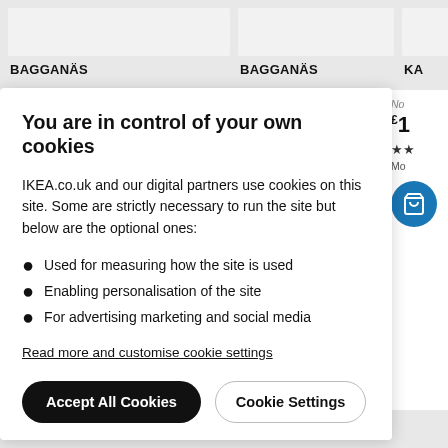[Figure (screenshot): Top partial product image cards (grey placeholder boxes)]
BAGGANÄS
BAGGANÄS
KA
You are in control of your own cookies
IKEA.co.uk and our digital partners use cookies on this site. Some are strictly necessary to run the site but below are the optional ones:
Used for measuring how the site is used
Enabling personalisation of the site
For advertising marketing and social media
Read more and customise cookie settings
Accept All Cookies
Cookie Settings